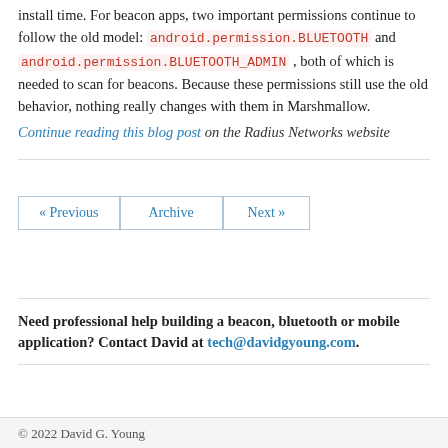install time. For beacon apps, two important permissions continue to follow the old model: android.permission.BLUETOOTH and android.permission.BLUETOOTH_ADMIN , both of which is needed to scan for beacons. Because these permissions still use the old behavior, nothing really changes with them in Marshmallow.
Continue reading this blog post on the Radius Networks website
« Previous  Archive  Next »
Need professional help building a beacon, bluetooth or mobile application? Contact David at tech@davidgyoung.com.
© 2022 David G. Young